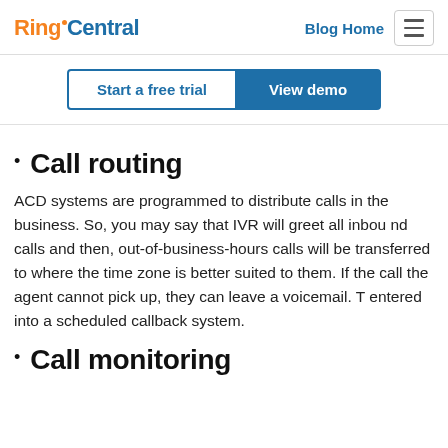RingCentral | Blog Home
Start a free trial | View demo
Call routing
ACD systems are programmed to distribute calls in the business. So, you may say that IVR will greet all inbound calls and then, out-of-business-hours calls will be transferred to where the time zone is better suited to them. If the call the agent cannot pick up, they can leave a voicemail. T entered into a scheduled callback system.
Call monitoring